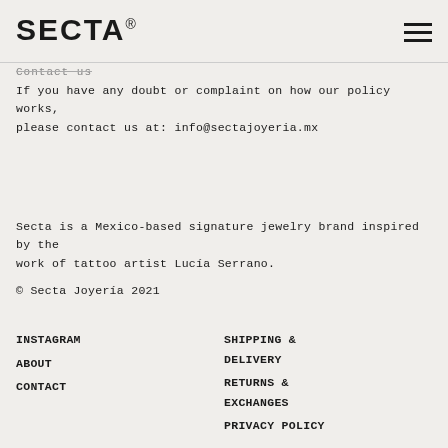SECTA®
Contact us
If you have any doubt or complaint on how our policy works, please contact us at: info@sectajoyeria.mx
Secta is a Mexico-based signature jewelry brand inspired by the work of tattoo artist Lucía Serrano.
© Secta Joyería 2021
INSTAGRAM
ABOUT
CONTACT
SHIPPING & DELIVERY
RETURNS & EXCHANGES
PRIVACY POLICY